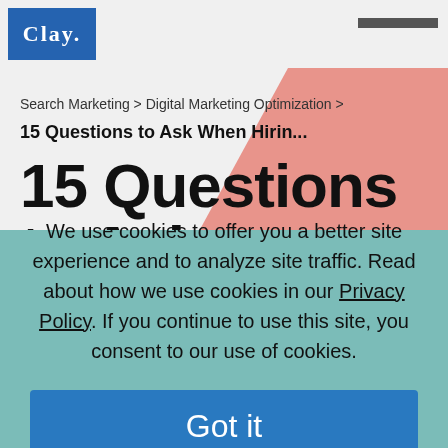CLAY.
Search Marketing > Digital Marketing Optimization >
15 Questions to Ask When Hirin...
15 Questions to Ask
We use cookies to offer you a better site experience and to analyze site traffic. Read about how we use cookies in our Privacy Policy. If you continue to use this site, you consent to our use of cookies.
Got it